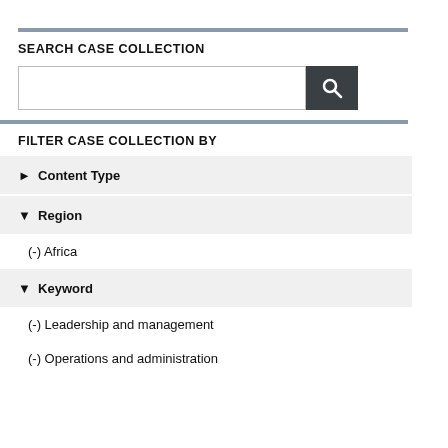SEARCH CASE COLLECTION
[Figure (screenshot): Search input box with dark search button containing magnifying glass icon]
FILTER CASE COLLECTION BY
▶ Content Type
▼ Region
(-) Africa
▼ Keyword
(-) Leadership and management
(-) Operations and administration